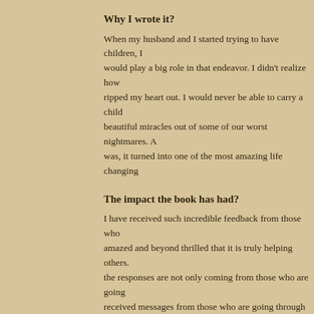Why I wrote it?
When my husband and I started trying to have children, I would play a big role in that endeavor. I didn't realize how ripped my heart out. I would never be able to carry a chil beautiful miracles out of some of our worst nightmares. A was, it turned into one of the most amazing life changing
The impact the book has had?
I have received such incredible feedback from those who amazed and beyond thrilled that it is truly helping others. the responses are not only coming from those who are go received messages from those who are going through mis to their children, people who are going through adoption understand that families are made in several different way teach their children life lessons about accepting, understa for their differences. The gratitude these families have sh for teaching, has been unbelievably humbling.
How can you help the...?